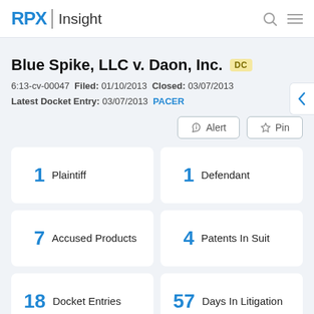RPX Insight
Blue Spike, LLC v. Daon, Inc. DC
6:13-cv-00047  Filed: 01/10/2013  Closed: 03/07/2013
Latest Docket Entry: 03/07/2013  PACER
| Count | Category |
| --- | --- |
| 1 | Plaintiff |
| 1 | Defendant |
| 7 | Accused Products |
| 4 | Patents In Suit |
| 18 | Docket Entries |
| 57 | Days In Litigation |